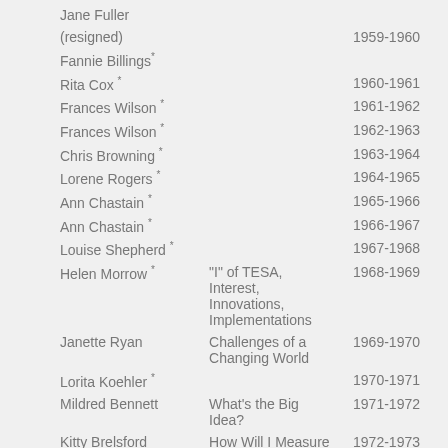| Name | Theme/Note | Years |
| --- | --- | --- |
| Jane Fuller |  |  |
| (resigned) |  | 1959-1960 |
| Fannie Billings* |  |  |
| Rita Cox * |  | 1960-1961 |
| Frances Wilson * |  | 1961-1962 |
| Frances Wilson * |  | 1962-1963 |
| Chris Browning * |  | 1963-1964 |
| Lorene Rogers * |  | 1964-1965 |
| Ann Chastain * |  | 1965-1966 |
| Ann Chastain * |  | 1966-1967 |
| Louise Shepherd * |  | 1967-1968 |
| Helen Morrow * | "I" of TESA, Interest, Innovations, Implementations | 1968-1969 |
| Janette Ryan | Challenges of a Changing World | 1969-1970 |
| Lorita Koehler * |  | 1970-1971 |
| Mildred Bennett | What's the Big Idea? | 1971-1972 |
| Kitty Brelsford | How Will I Measure Up? | 1972-1973 |